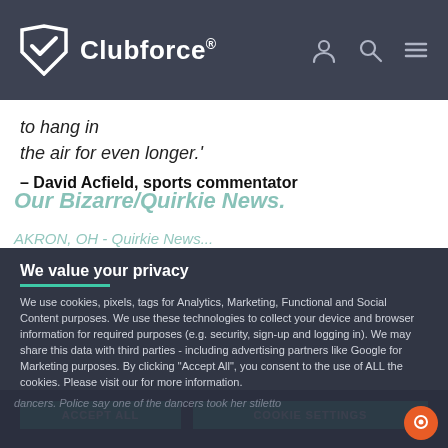Clubforce®
to hang in the air for even longer.'
– David Acfield, sports commentator
We value your privacy
We use cookies, pixels, tags for Analytics, Marketing, Functional and Social Content purposes. We use these technologies to collect your device and browser information for required purposes (e.g. security, sign-up and logging in). We may share this data with third parties - including advertising partners like Google for Marketing purposes. By clicking "Accept All", you consent to the use of ALL the cookies. Please visit our for more information.
ACCEPT ALL | COOKIE SETTINGS
dancers. Police say one of the dancers took her stiletto